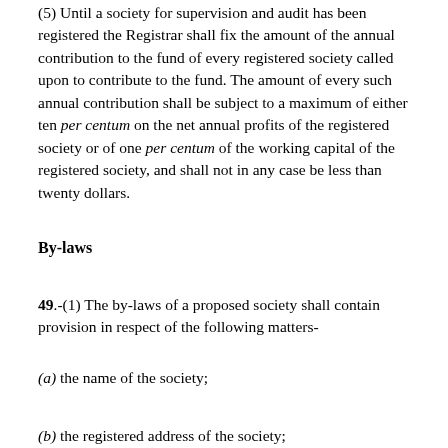(5) Until a society for supervision and audit has been registered the Registrar shall fix the amount of the annual contribution to the fund of every registered society called upon to contribute to the fund. The amount of every such annual contribution shall be subject to a maximum of either ten per centum on the net annual profits of the registered society or of one per centum of the working capital of the registered society, and shall not in any case be less than twenty dollars.
By-laws
49.-(1) The by-laws of a proposed society shall contain provision in respect of the following matters-
(a) the name of the society;
(b) the registered address of the society;